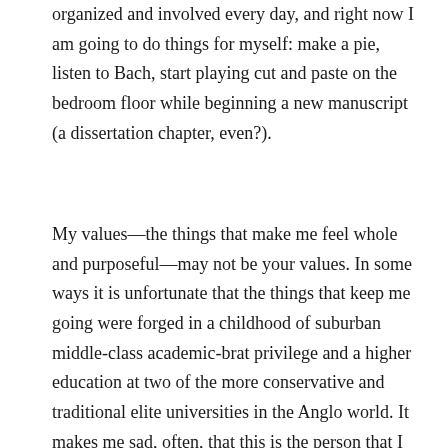organized and involved every day, and right now I am going to do things for myself: make a pie, listen to Bach, start playing cut and paste on the bedroom floor while beginning a new manuscript (a dissertation chapter, even?).
My values—the things that make me feel whole and purposeful—may not be your values. In some ways it is unfortunate that the things that keep me going were forged in a childhood of suburban middle-class academic-brat privilege and a higher education at two of the more conservative and traditional elite universities in the Anglo world. It makes me sad, often, that this is the person that I am: that I am enough of a lily-livered liberal to identify as much with university faculty and administrators (the people who made me) than with the